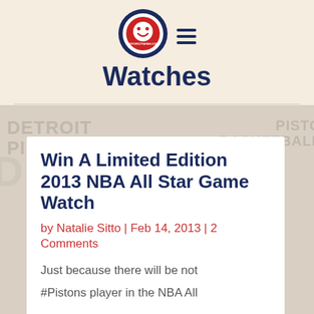Watches
[Figure (logo): Circular website logo with a smiling face and text, red, white, and blue colors, with hamburger menu icon]
Win A Limited Edition 2013 NBA All Star Game Watch
by Natalie Sitto | Feb 14, 2013 | 2 Comments
Just because there will be not #Pistons player in the NBA All